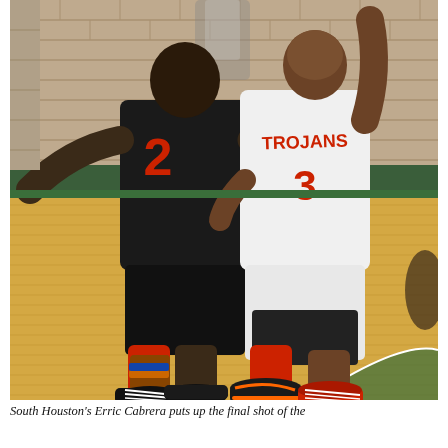[Figure (photo): Two basketball players during a game. A player wearing a black jersey with the number 2 (defending) and a player wearing a white Trojans jersey with the number 3 (South Houston's Erric Cabrera) putting up a shot. They are on a hardwood basketball court with a green-painted area and brick wall in the background.]
South Houston's Erric Cabrera puts up the final shot of the